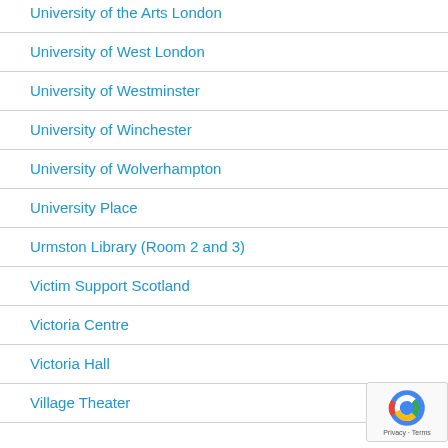University of the Arts London
University of West London
University of Westminster
University of Winchester
University of Wolverhampton
University Place
Urmston Library (Room 2 and 3)
Victim Support Scotland
Victoria Centre
Victoria Hall
Village Theater